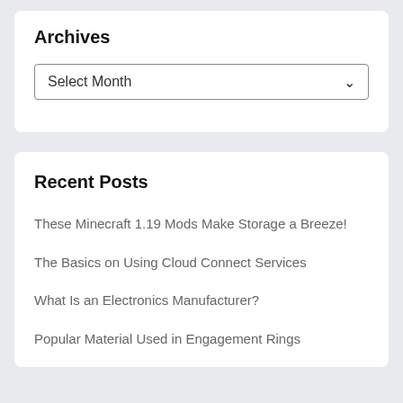Archives
Select Month
Recent Posts
These Minecraft 1.19 Mods Make Storage a Breeze!
The Basics on Using Cloud Connect Services
What Is an Electronics Manufacturer?
Popular Material Used in Engagement Rings